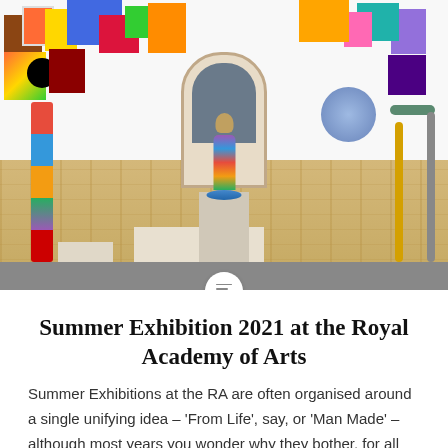[Figure (photo): Interior of a gallery at the Royal Academy of Arts showing colourful paintings on white walls and sculptural works on the floor, including a central mosaic-covered figure on a pedestal, a tall multi-coloured totem pole on the left, and modern metal frame sculptures on the right. The floor is parquet wood with a grey strip at the front.]
Summer Exhibition 2021 at the Royal Academy of Arts
Summer Exhibitions at the RA are often organised around a single unifying idea – 'From Life', say, or 'Man Made' – although most years you wonder why they bother, for all the